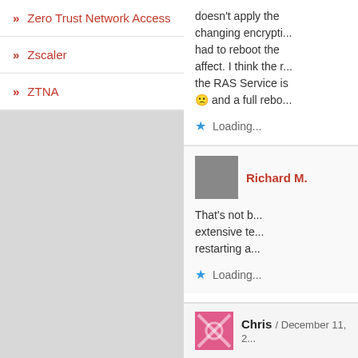» Zero Trust Network Access
» Zscaler
» ZTNA
doesn't apply the changing encrypti... had to reboot the affect. I think the RAS Service is 🙁 and a full rebo...
Loading...
Richard M.
That's not b... extensive te... restarting a...
Loading...
Chris / December 11, 2...